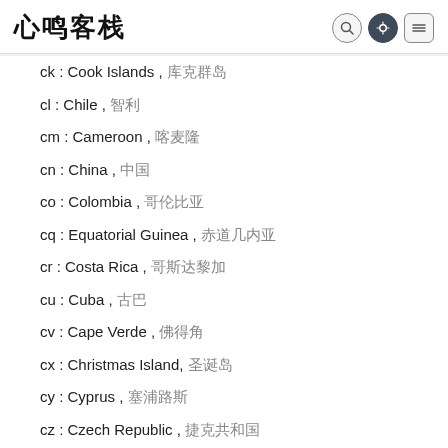心鸣客栈 (logo with search, theme, menu icons)
ck : Cook Islands , 库克群岛
cl : Chile , 智利
cm : Cameroon , 喀麦隆
cn : China , 中国
co : Colombia , 哥伦比亚
cq : Equatorial Guinea , 赤道几内亚
cr : Costa Rica , 哥斯达黎加
cu : Cuba , 古巴
cv : Cape Verde , 佛得角
cx : Christmas Island, 圣诞岛
cy : Cyprus , 塞浦路斯
cz : Czech Republic , 捷克共和国
de : Germany , 德国